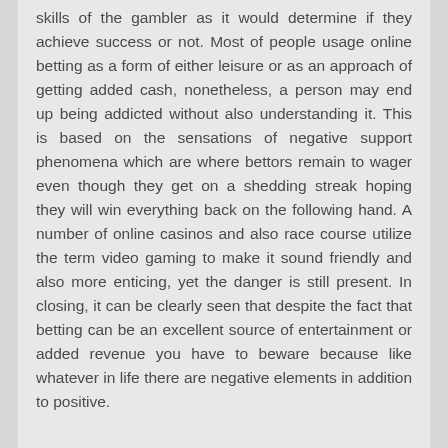skills of the gambler as it would determine if they achieve success or not. Most of people usage online betting as a form of either leisure or as an approach of getting added cash, nonetheless, a person may end up being addicted without also understanding it. This is based on the sensations of negative support phenomena which are where bettors remain to wager even though they get on a shedding streak hoping they will win everything back on the following hand. A number of online casinos and also race course utilize the term video gaming to make it sound friendly and also more enticing, yet the danger is still present. In closing, it can be clearly seen that despite the fact that betting can be an excellent source of entertainment or added revenue you have to beware because like whatever in life there are negative elements in addition to positive.